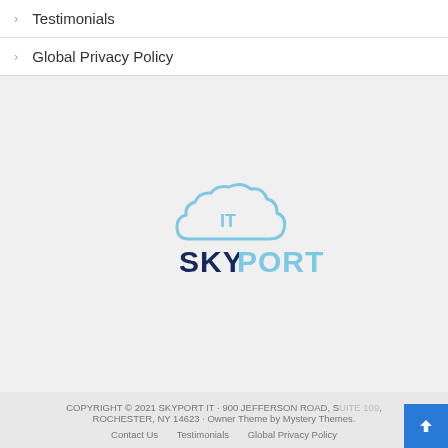Testimonials
Global Privacy Policy
[Figure (logo): SkyPort IT logo — cloud shape with 'IT' text inside, and 'SKYPORT' text below in dark navy and light blue]
COPYRIGHT © 2021 SKYPORT IT · 900 JEFFERSON ROAD, SUITE 109, ROCHESTER, NY 14623 · Owner Theme by Mystery Themes. Contact Us  Testimonials  Global Privacy Policy